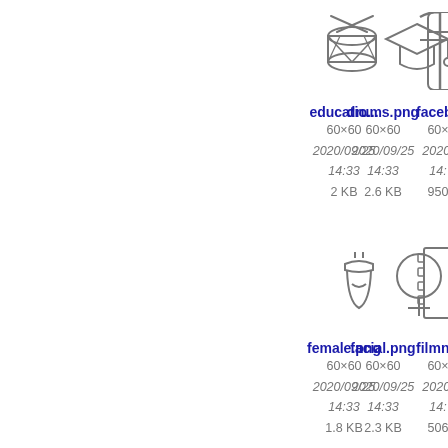[Figure (illustration): Drum icon - line art of a snare drum with crossed drumsticks]
drums.png
60×60
2020/09/25
14:33
2.6 KB
[Figure (illustration): Education/graduation cap icon - line art of a mortarboard]
educatio...
60×60
2020/09/25
14:33
2 KB
[Figure (illustration): Facebook icon - partial line art of Facebook logo]
facebo...
60×
2020/
14:
950
[Figure (illustration): Facial recognition / acorn icon - line art]
facial.png
60×60
2020/09/25
14:33
2.3 KB
[Figure (illustration): Female symbol icon - line art of Venus/female symbol]
female.png
60×60
2020/09/25
14:33
1.8 KB
[Figure (illustration): Film/filmstrip icon - partial line art]
filmne...
60×
2020/
14:
506